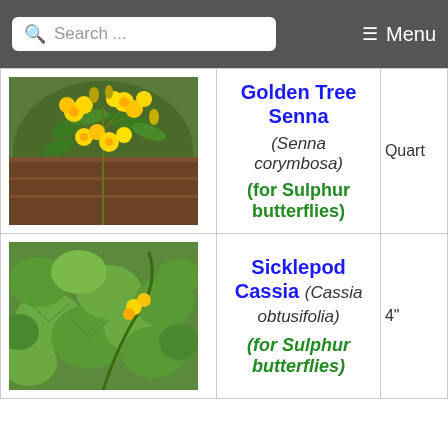Search ... Menu
| Image | Plant Name | Qty |
| --- | --- | --- |
| [photo of Golden Tree Senna yellow flowers] | Golden Tree Senna (Senna corymbosa) (for Sulphur butterflies) | Quart |
| [photo of Sicklepod Cassia plant] | Sicklepod Cassia (Cassia obtusifolia) (for Sulphur butterflies) | 4" |